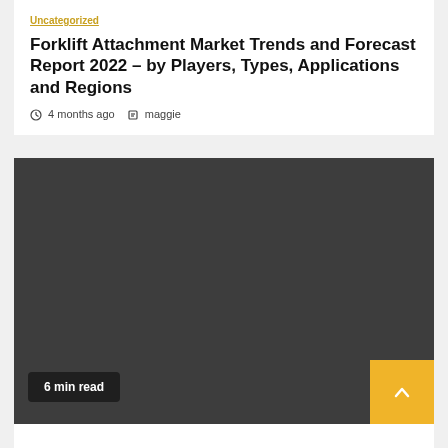Uncategorized
Forklift Attachment Market Trends and Forecast Report 2022 – by Players, Types, Applications and Regions
4 months ago   maggie
[Figure (photo): Dark grey/charcoal placeholder image block representing a featured article image]
6 min read